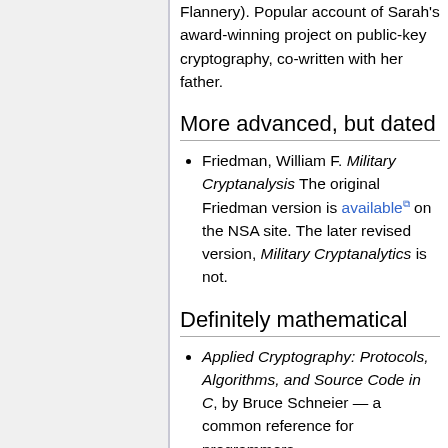Flannery). Popular account of Sarah's award-winning project on public-key cryptography, co-written with her father.
More advanced, but dated
Friedman, William F. Military Cryptanalysis The original Friedman version is available on the NSA site. The later revised version, Military Cryptanalytics is not.
Definitely mathematical
Applied Cryptography: Protocols, Algorithms, and Source Code in C, by Bruce Schneier — a common reference for programmers
Handbook of Applied Cryptography by A. J. Menezes, P. C. van